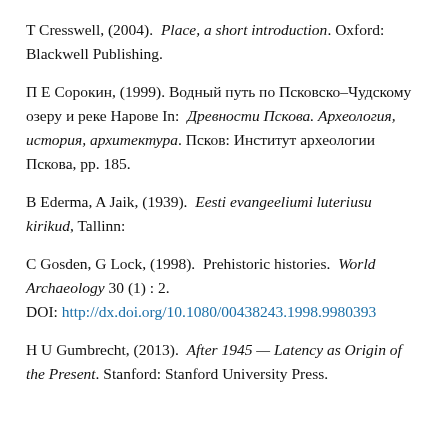T Cresswell, (2004). Place, a short introduction. Oxford: Blackwell Publishing.
П Е Сорокин, (1999). Водный путь по Псковско–Чудскому озеру и реке Нарове In: Древности Пскова. Археология, история, архитектура. Псков: Институт археологии Пскова, pp. 185.
B Ederma, A Jaik, (1939). Eesti evangeeliumi luteriusu kirikud, Tallinn:
C Gosden, G Lock, (1998). Prehistoric histories. World Archaeology 30 (1) : 2. DOI: http://dx.doi.org/10.1080/00438243.1998.9980393
H U Gumbrecht, (2013). After 1945 — Latency as Origin of the Present. Stanford: Stanford University Press.